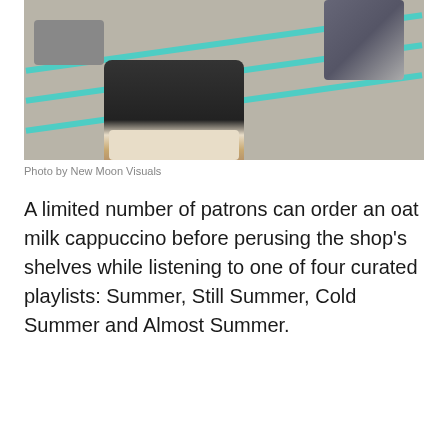[Figure (photo): A person sitting on a striped sidewalk with Converse platform sneakers and a boombox/cassette player visible, taken from a low angle showing the shoes prominently.]
Photo by New Moon Visuals
A limited number of patrons can order an oat milk cappuccino before perusing the shop’s shelves while listening to one of four curated playlists: Summer, Still Summer, Cold Summer and Almost Summer.